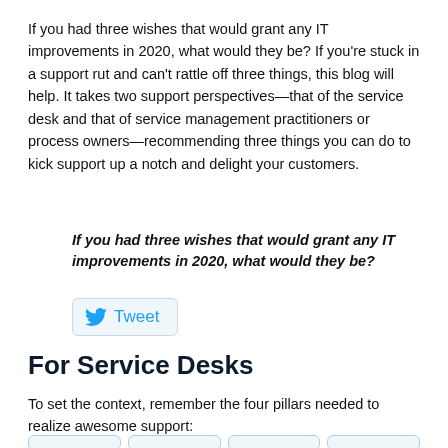If you had three wishes that would grant any IT improvements in 2020, what would they be? If you're stuck in a support rut and can't rattle off three things, this blog will help. It takes two support perspectives—that of the service desk and that of service management practitioners or process owners—recommending three things you can do to kick support up a notch and delight your customers.
If you had three wishes that would grant any IT improvements in 2020, what would they be?
[Figure (other): Tweet button with Twitter bird icon and the word Tweet]
For Service Desks
To set the context, remember the four pillars needed to realize awesome support: